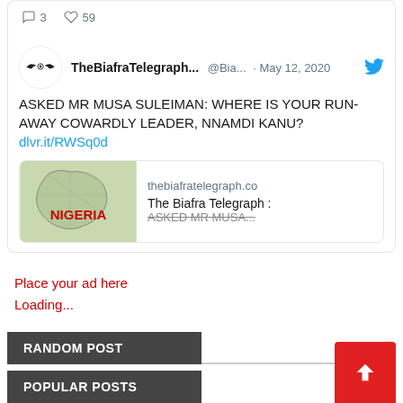[Figure (screenshot): Partial tweet card showing comment icon (3) and heart icon (59) interaction bar at top]
[Figure (screenshot): Tweet from TheBiafraTelegraph (@Bia...) dated May 12, 2020 with Twitter bird icon. Tweet text: ASKED MR MUSA SULEIMAN: WHERE IS YOUR RUN-AWAY COWARDLY LEADER, NNAMDI KANU? dlvr.it/RWSq0d. Includes link preview showing Nigeria map image, thebiafratelegraph.co domain, title 'The Biafra Telegraph : ASKED MR MUSA...']
Place your ad here
Loading...
RANDOM POST
POPULAR POSTS